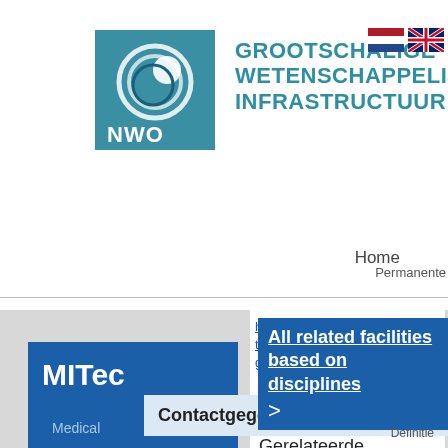[Figure (logo): NWO logo - circular swirl design in teal/blue with NWO text below]
GROOTSCHALIGE WETENSCHAPPELIJKE INFRASTRUCTUUR
[Figure (photo): Dutch and UK flag icons for language selection]
Home
Permanente
All related facilities based on disciplines >
MITec
Medical
https://www.radboudumc.nl/research/radboud-technology-centers/image-guided-treatments/mitec
Definitie
Gerelateerde faciliteiten op basis van
FAQ
| Contactgegevens: |
| --- |